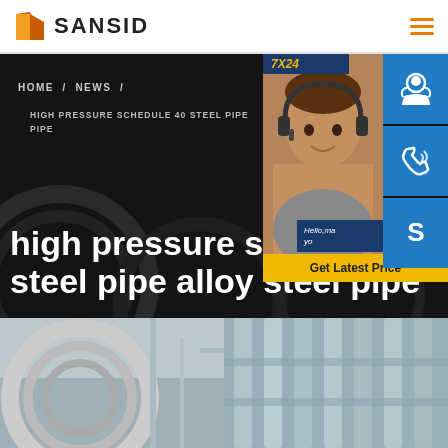[Figure (logo): SANSID company logo with orange building/triangle icon]
HOME / NEWS / HIGH PRESSURE SCHEDULE 40 STEEL PIPE PIPE
high pressure schedule steel pipe alloy steel pipe
[Figure (photo): Customer service representative wearing headset, with 7X24 badge, chat bubble saying Hello,ma yo, Get Latest Price button, and three icon buttons for support, phone, and Skype]
[Figure (photo): Two photos of steel pipes/industrial equipment at the bottom of the page]